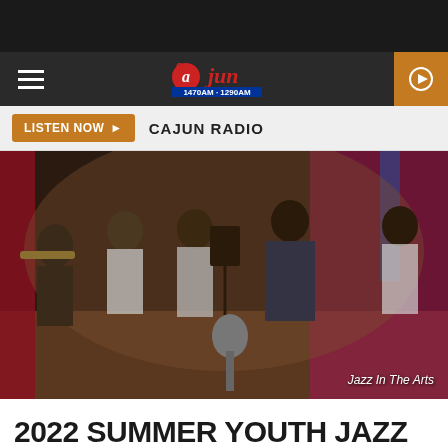Cajun Radio 1470AM · 1290AM
LISTEN NOW ▶  CAJUN RADIO
[Figure (photo): Youth jazz musicians with brass instruments rehearsing on a stage with red curtains, directed by an adult instructor. Caption reads 'Jazz In The Arts'.]
Jazz In The Arts
2022 SUMMER YOUTH JAZZ